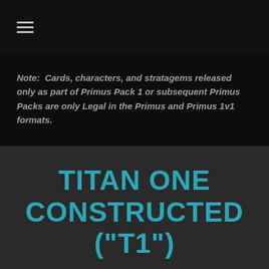☰
Note:  Cards, characters, and stratagems released only as part of Primus Pack 1 or subsequent Primus Packs are only Legal in the Primus and Primus 1v1 formats.
TITAN ONE CONSTRUCTED ("T1")